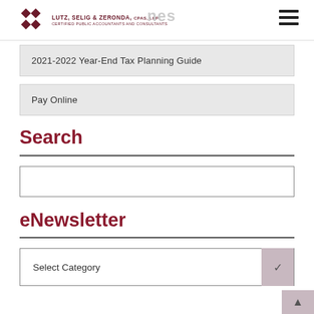LUTZ, SELIG & ZERONDA, CPAs, LLP | CERTIFIED PUBLIC ACCOUNTANTS AND CONSULTANTS
2021-2022 Year-End Tax Planning Guide
Pay Online
Search
eNewsletter
Select Category